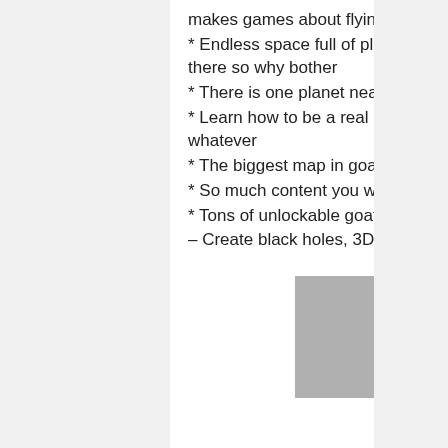makes games about flying and shooting in space anymore
* Endless space full of planets to visit. but seriously it would take forever to go there so why bother
* There is one planet nearby though. Go to that one
* Learn how to be a real bridge commander like that spock dude from mars or whatever
* The biggest map in goat simulator history
* So much content you will have to charge your phone lots of times
* Tons of unlockable goats with special powers
– Create black holes, 3D print stuff in the world and fling people with your mind
[Figure (photo): A grey placeholder image rectangle]